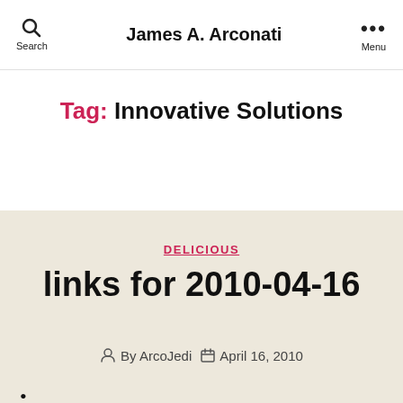James A. Arconati
Tag: Innovative Solutions
DELICIOUS
links for 2010-04-16
By ArcoJedi  April 16, 2010
•